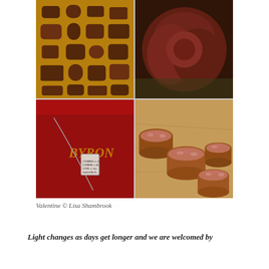[Figure (photo): Four-photo grid collage showing: top-left - box of assorted chocolates on gold tray, top-right - close-up of a dark red rose, bottom-left - silver necklace with pendant on red Byron book/box, bottom-right - chocolate cups topped with pink rose petals]
Valentine © Lisa Shambrook
Light changes as days get longer and we are welcomed by